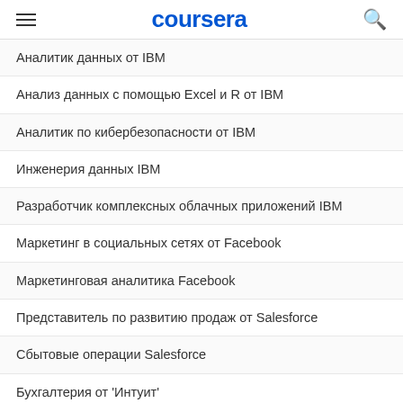coursera
Аналитик данных от IBM
Анализ данных с помощью Excel и R от IBM
Аналитик по кибербезопасности от IBM
Инженерия данных IBM
Разработчик комплексных облачных приложений IBM
Маркетинг в социальных сетях от Facebook
Маркетинговая аналитика Facebook
Представитель по развитию продаж от Salesforce
Сбытовые операции Salesforce
Бухгалтерия от 'Интуит'
Подготовка к сертификации Google Cloud: облачный архитектор
Подготовка к сертификации Google Cloud: специалист по инженерии облачных данных
Начните карьеру